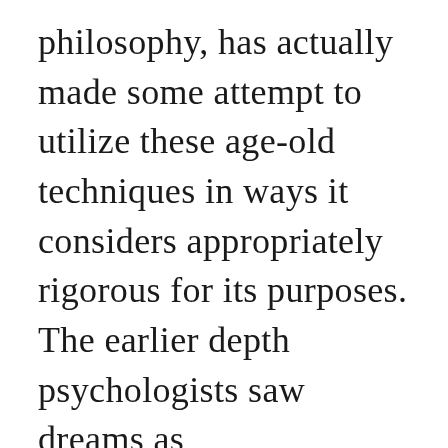philosophy, has actually made some attempt to utilize these age-old techniques in ways it considers appropriately rigorous for its purposes. The earlier depth psychologists saw dreams as “proof” of the unconscious, and the images of the Tarot evoke similar insights. Here is some